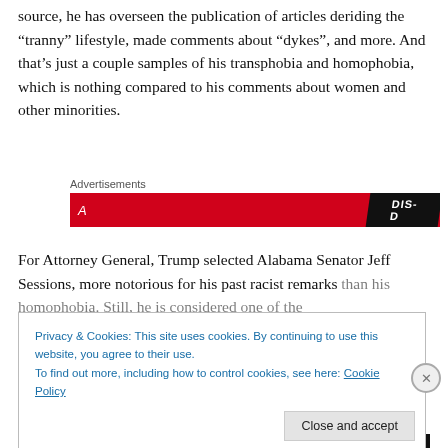source, he has overseen the publication of articles deriding the “tranny” lifestyle, made comments about “dykes”, and more. And that’s just a couple samples of his transphobia and homophobia, which is nothing compared to his comments about women and other minorities.
[Figure (other): An advertisement banner with red background, white italic text on left and a black diagonal logo badge on the right reading 'DIS-D']
For Attorney General, Trump selected Alabama Senator Jeff Sessions, more notorious for his past racist remarks than his homophobia. Still, he is considered one of the
Privacy & Cookies: This site uses cookies. By continuing to use this website, you agree to their use.
To find out more, including how to control cookies, see here: Cookie Policy
Close and accept